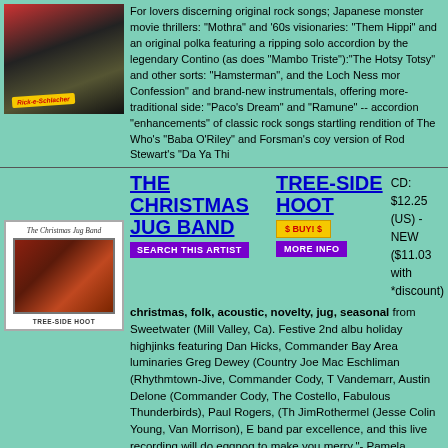[Figure (photo): Performance photo with colorful stage backdrop, partially visible]
For lovers discerning original rock songs; Japanese monster movie thrillers: "Mothra" and '60s visionaries: "Them Hippies" and an original polka featuring a ripping solo accordion by the legendary Contino (as does "Mambo Triste"):"The Hotsy Totsy Rag" and other sorts: "Hamsterman", and the Loch Ness monster. On its more-traditional side: "Paco's Dream" and "Ramune" -- accordion "enhancements" of classic rock songs -- including a startling rendition of The Who's "Baba O'Riley" and Forsman's coy version of Rod Stewart's "Da Ya Thi
THE CHRISTMAS JUG BAND
TREE-SIDE HOOT
CD: $12.25 (US) - NEW ($11.03 with *discount)
[Figure (photo): Album cover for Tree-Side Hoot by The Christmas Jug Band, showing band in indoor setting]
christmas, folk, acoustic, novelty, jug, seasonal from Sweetwater (Mill Valley, Ca). Festive 2nd album of holiday highjinks featuring Dan Hicks, Commander Bay Area luminaries Greg Dewey (Country Joe Mac Eschliman (Rhythmtown-Jive, Commander Cody, T Vandemarr, Austin Delone (Commander Cody, The Costello, Fabulous Thunderbirds), Paul Rogers, (Th JimRothermel (Jesse Colin Young, Van Morrison), E band par excellence, and this live recording will do eggnog to make you merry."- Pamela Winters, Dirty